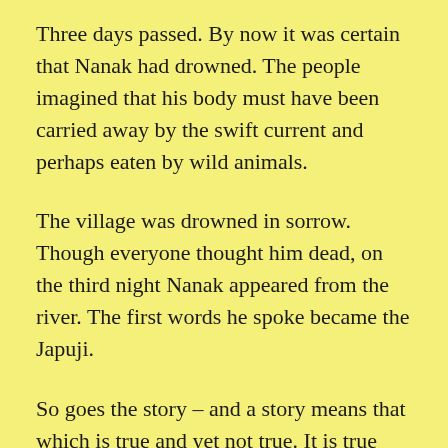Three days passed. By now it was certain that Nanak had drowned. The people imagined that his body must have been carried away by the swift current and perhaps eaten by wild animals.
The village was drowned in sorrow. Though everyone thought him dead, on the third night Nanak appeared from the river. The first words he spoke became the Japuji.
So goes the story – and a story means that which is true and yet not true. It is true because it gives the essential truth; it is false in the sense that it is only symbolic. And it is evident that the more profound the subject matter, the